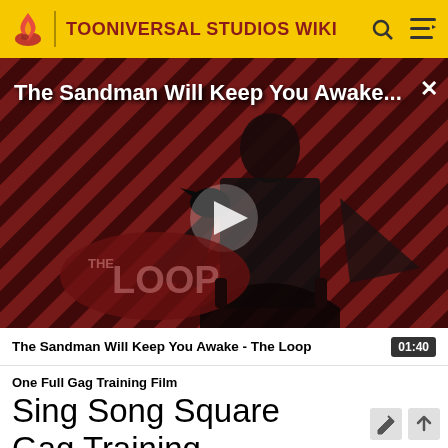TOONIVERSAL STUDIOS WIKI
[Figure (screenshot): Video thumbnail for 'The Sandman Will Keep You Awake - The Loop' showing a dark-clothed figure with a raven against a red diagonal-striped background, with a play button overlay and THE LOOP logo watermark]
The Sandman Will Keep You Awake - The Loop  01:40
One Full Gag Training Film
Sing Song Square Gag Training Tasks